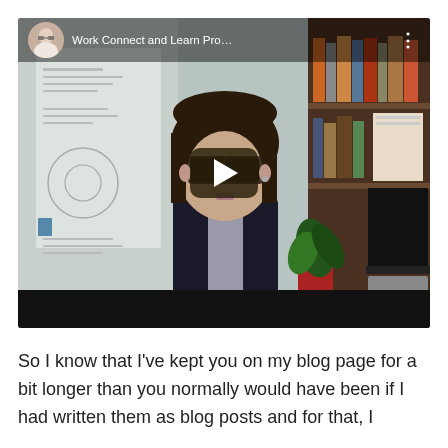[Figure (screenshot): YouTube video embed showing a woman with dark hair and glasses sitting in front of a home office background with bookshelves and papers. The video top bar shows a circular channel avatar photo and the title 'Work Connect and Learn Pro…' with a three-dot menu icon. A dark play button overlay is centered on the video. The bottom of the embed shows a black bar.]
So I know that I've kept you on my blog page for a bit longer than you normally would have been if I had written them as blog posts and for that, I